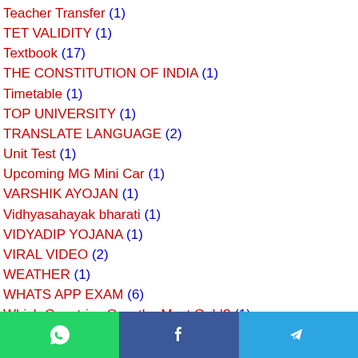Teacher Transfer (1)
TET VALIDITY (1)
Textbook (17)
THE CONSTITUTION OF INDIA (1)
Timetable (1)
TOP UNIVERSITY (1)
TRANSLATE LANGUAGE (2)
Unit Test (1)
Upcoming MG Mini Car (1)
VARSHIK AYOJAN (1)
Vidhyasahayak bharati (1)
VIDYADIP YOJANA (1)
VIRAL VIDEO (2)
WEATHER (1)
WHATS APP EXAM (6)
Which Countries Own the Most Gold? (1)
WhatsApp | Facebook | Telegram